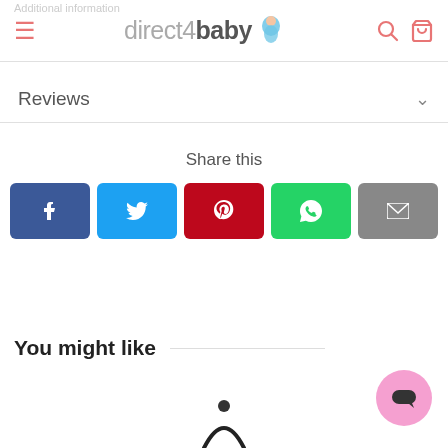direct4baby
Reviews
Share this
[Figure (infographic): Social share buttons: Facebook, Twitter, Pinterest, WhatsApp, Email]
You might like
[Figure (photo): Partial product image at bottom of page]